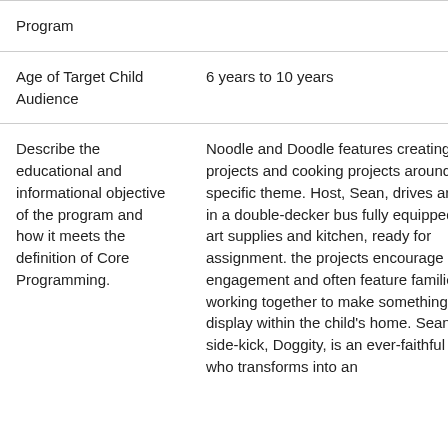| Program |  |
| Age of Target Child Audience | 6 years to 10 years |
| Describe the educational and informational objective of the program and how it meets the definition of Core Programming. | Noodle and Doodle features creating art projects and cooking projects around a specific theme. Host, Sean, drives around in a double-decker bus fully equipped with art supplies and kitchen, ready for assignment. the projects encourage parent engagement and often feature families working together to make something to display within the child's home. Sean's side-kick, Doggity, is an ever-faithful beagle who transforms into an |